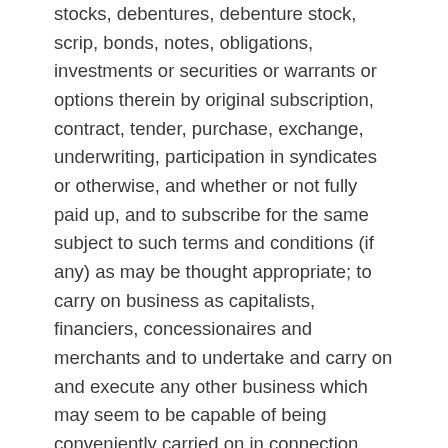stocks, debentures, debenture stock, scrip, bonds, notes, obligations, investments or securities or warrants or options therein by original subscription, contract, tender, purchase, exchange, underwriting, participation in syndicates or otherwise, and whether or not fully paid up, and to subscribe for the same subject to such terms and conditions (if any) as may be thought appropriate; to carry on business as capitalists, financiers, concessionaires and merchants and to undertake and carry on and execute any other business which may seem to be capable of being conveniently carried on in connection with any of these objects or calculated directly or indirectly to enhance the value of or facilitate the realization of, or render profitable, any of the Company's property or rights; to carry on the business of a property investment and holding company and for that purpose to purchase, take on lease, or in exchange, or otherwise acquire, hold, undertake, or direct the management of work, develop the resources of, and turn to account any estates, lands, buildings, tenements, and other real property and property of every